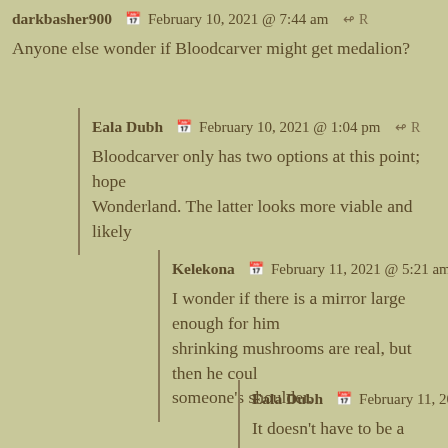darkbasher900  February 10, 2021 @ 7:44 am  ↩ R
Anyone else wonder if Bloodcarver might get medalion?
Eala Dubh  February 10, 2021 @ 1:04 pm  ↩ R
Bloodcarver only has two options at this point; hope Wonderland. The latter looks more viable and likely
Kelekona  February 11, 2021 @ 5:21 am
I wonder if there is a mirror large enough for him shrinking mushrooms are real, but then he coul someone's shoulder.
Eala Dubh  February 11, 2021 @ 2:54
It doesn't have to be a mirror per se, I'm su portal.